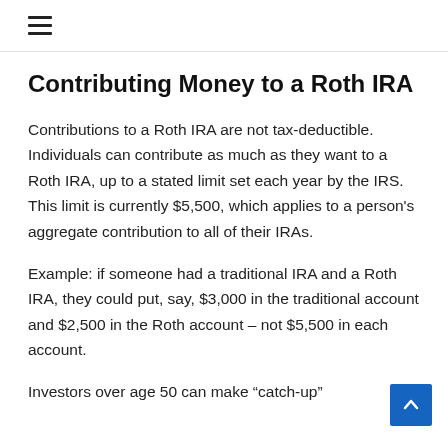≡ (hamburger menu icon)
Contributing Money to a Roth IRA
Contributions to a Roth IRA are not tax-deductible. Individuals can contribute as much as they want to a Roth IRA, up to a stated limit set each year by the IRS. This limit is currently $5,500, which applies to a person's aggregate contribution to all of their IRAs.
Example: if someone had a traditional IRA and a Roth IRA, they could put, say, $3,000 in the traditional account and $2,500 in the Roth account – not $5,500 in each account.
Investors over age 50 can make “catch-up”